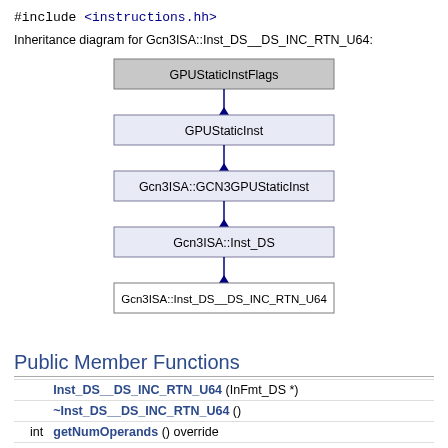#include <instructions.hh>
Inheritance diagram for Gcn3ISA::Inst_DS__DS_INC_RTN_U64:
[Figure (organizational-chart): Inheritance diagram showing: GPUStaticInstFlags at top (gray box), connected by arrow down to GPUStaticInst (light blue box), connected by arrow down to Gcn3ISA::GCN3GPUStaticInst (light blue box), connected by arrow down to Gcn3ISA::Inst_DS (light blue box), connected by arrow down to Gcn3ISA::Inst_DS__DS_INC_RTN_U64 (white box) at bottom.]
Public Member Functions
| type | function |
| --- | --- |
|  | Inst_DS__DS_INC_RTN_U64 (InFmt_DS *) |
|  | ~Inst_DS__DS_INC_RTN_U64 () |
| int | getNumOperands () override |
| int | numDstRegOperands () override |